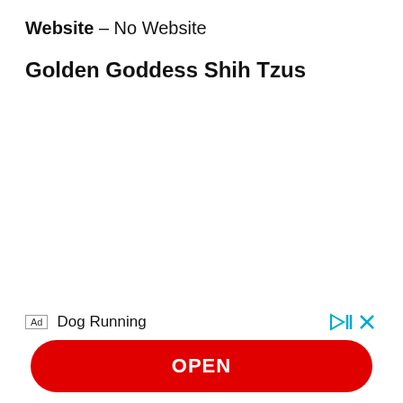Website – No Website
Golden Goddess Shih Tzus
[Figure (infographic): Advertisement banner at bottom of page: Ad label, 'Dog Running' title, play/close controls, and a red 'OPEN' button]